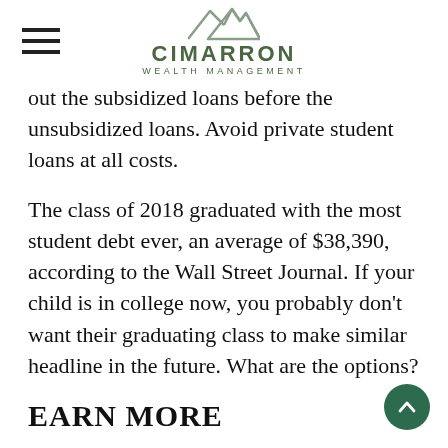CIMARRON WEALTH MANAGEMENT
out the subsidized loans before the unsubsidized loans. Avoid private student loans at all costs.
The class of 2018 graduated with the most student debt ever, an average of $38,390, according to the Wall Street Journal. If your child is in college now, you probably don't want their graduating class to make similar headline in the future. What are the options?
EARN MORE
Yes, that means extra work between courses, research papers and case studies. The rewards,